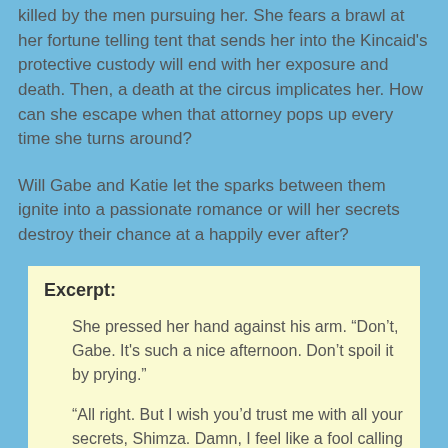killed by the men pursuing her. She fears a brawl at her fortune telling tent that sends her into the Kincaid's protective custody will end with her exposure and death. Then, a death at the circus implicates her. How can she escape when that attorney pops up every time she turns around?
Will Gabe and Katie let the sparks between them ignite into a passionate romance or will her secrets destroy their chance at a happily ever after?
Excerpt:
She pressed her hand against his arm. “Don’t, Gabe. It’s such a nice afternoon. Don’t spoil it by prying.”
“All right. But I wish you’d trust me with all your secrets, Shimza. Damn, I feel like a fool calling you that but I don’t even know your